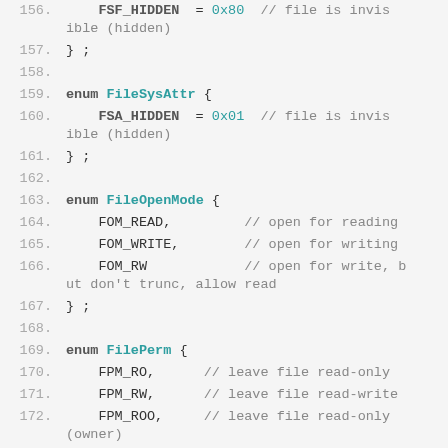156.     FSF_HIDDEN = 0x80  // file is invisible (hidden)
157. } ;
158.
159. enum FileSysAttr {
160.     FSA_HIDDEN = 0x01  // file is invisible (hidden)
161. } ;
162.
163. enum FileOpenMode {
164.     FOM_READ,          // open for reading
165.     FOM_WRITE,         // open for writing
166.     FOM_RW             // open for write, but don't trunc, allow read
167. } ;
168.
169. enum FilePerm {
170.     FPM_RO,      // leave file read-only
171.     FPM_RW,      // leave file read-write
172.     FPM_ROO,     // leave file read-only (owner)
173.     // following two enums are for key file and dir permissions
174.     FPM_RXO,     // set file read-execute (owner) NO W